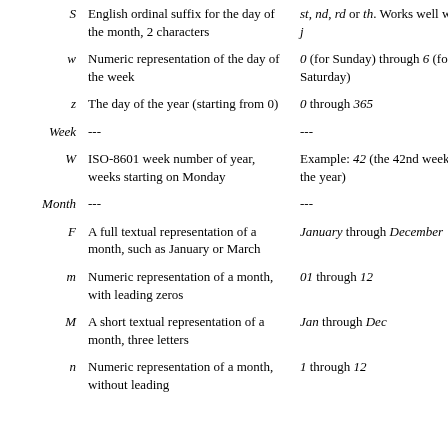| Character | Description | Example |
| --- | --- | --- |
| S | English ordinal suffix for the day of the month, 2 characters | st, nd, rd or th. Works well with j |
| w | Numeric representation of the day of the week | 0 (for Sunday) through 6 (for Saturday) |
| z | The day of the year (starting from 0) | 0 through 365 |
| Week | --- | --- |
| W | ISO-8601 week number of year, weeks starting on Monday | Example: 42 (the 42nd week in the year) |
| Month | --- | --- |
| F | A full textual representation of a month, such as January or March | January through December |
| m | Numeric representation of a month, with leading zeros | 01 through 12 |
| M | A short textual representation of a month, three letters | Jan through Dec |
| n | Numeric representation of a month, without leading | 1 through 12 |